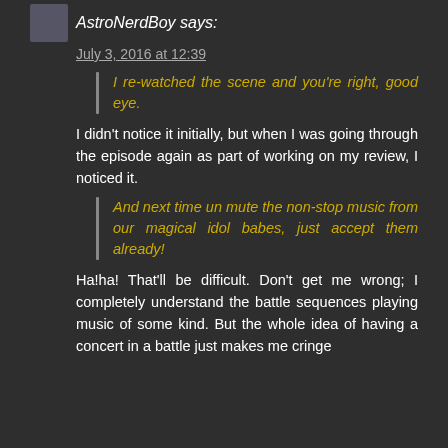AstroNerdBoy says:
July 3, 2016 at 12:39
I re-watched the scene and you're right, good eye.
I didn't notice it initially, but when I was going through the episode again as part of working on my review, I noticed it.
And next time un mute the non-stop music from our magical idol babes, just accept them already!
Ha!ha! That'll be difficult. Don't get me wrong; I completely understand the battle sequences playing music of some kind. But the whole idea of having a concert in a battle just makes me cringe